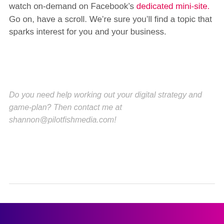watch on-demand on Facebook's dedicated mini-site. Go on, have a scroll. We're sure you'll find a topic that sparks interest for you and your business.
Do you need help working out your digital strategy and game-plan? Then contact me at shannon@pilotfishmedia.com!